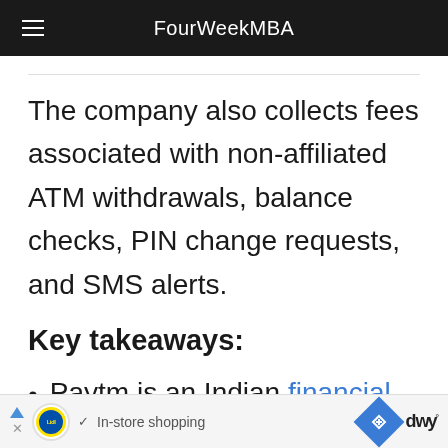FourWeekMBA
The company also collects fees associated with non-affiliated ATM withdrawals, balance checks, PIN change requests, and SMS alerts.
Key takeaways:
Paytm is an Indian financial